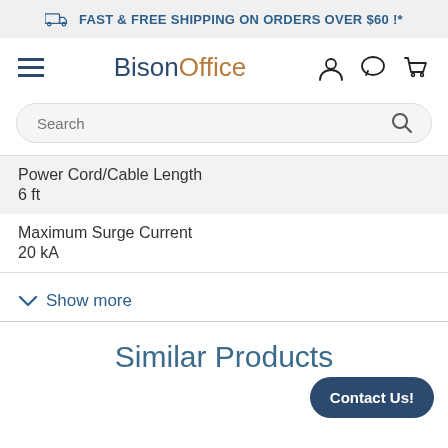FAST & FREE SHIPPING ON ORDERS OVER $60 !*
[Figure (logo): BisonOffice logo with navigation icons (hamburger menu, user icon, chat icon, cart icon)]
Search
| Power Cord/Cable Length | 6 ft |
| Maximum Surge Current | 20 kA |
Show more
Similar Products
Contact Us!